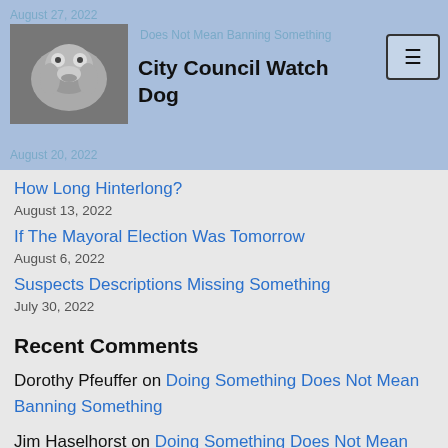City Council Watch Dog
August 27, 2022
Doing Something Does Not Mean Banning Something
August 20, 2022
How Long Hinterlong?
August 13, 2022
If The Mayoral Election Was Tomorrow
August 6, 2022
Suspects Descriptions Missing Something
July 30, 2022
Recent Comments
Dorothy Pfeuffer on Doing Something Does Not Mean Banning Something
Jim Haselhorst on Doing Something Does Not Mean Banning Something